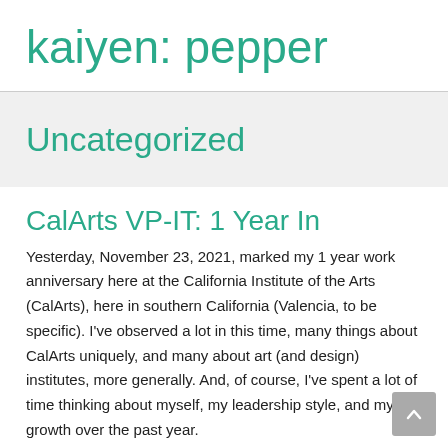kaiyen: pepper
Uncategorized
CalArts VP-IT: 1 Year In
Yesterday, November 23, 2021, marked my 1 year work anniversary here at the California Institute of the Arts (CalArts), here in southern California (Valencia, to be specific). I've observed a lot in this time, many things about CalArts uniquely, and many about art (and design) institutes, more generally. And, of course, I've spent a lot of time thinking about myself, my leadership style, and my growth over the past year.